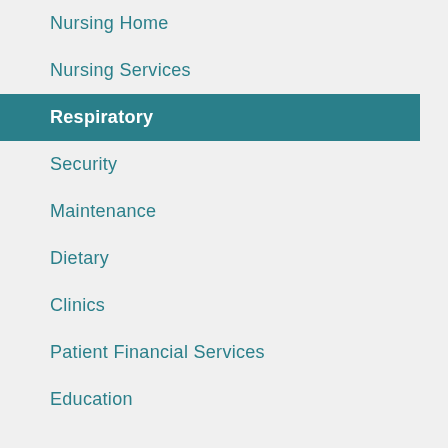Nursing Home
Nursing Services
Respiratory
Security
Maintenance
Dietary
Clinics
Patient Financial Services
Education